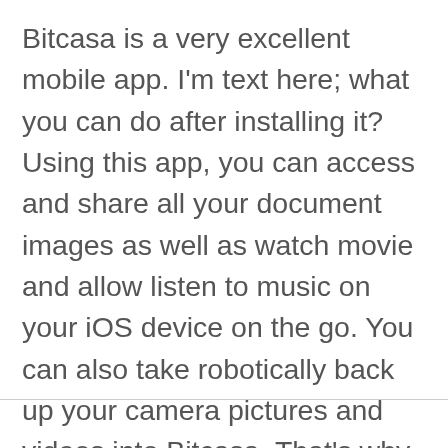Bitcasa is a very excellent mobile app. I'm text here; what you can do after installing it? Using this app, you can access and share all your document images as well as watch movie and allow listen to music on your iOS device on the go. You can also take robotically back up your camera pictures and videos into Bitcasa. That's why you have never lost images and videos too. So it's a good job app for your iPhone and iPod. Compatibility: – Required iOS 7.0 or later Compatible with iPhone; iPad and iPod touch.